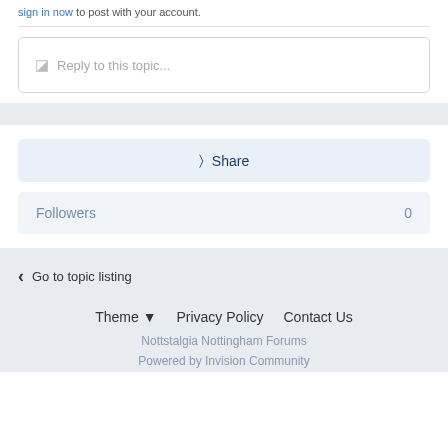sign in now to post with your account.
Reply to this topic...
Share
Followers  0
Go to topic listing
Theme ▾  Privacy Policy  Contact Us
Nottstalgia Nottingham Forums
Powered by Invision Community